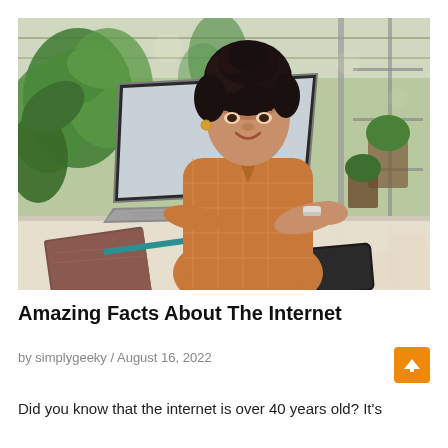[Figure (photo): A young Black woman with curly hair styled up, wearing an orange/rust checkered top, smiling while using a laptop at a table. Behind her are lush green plants in what appears to be a greenhouse or garden cafe. A notebook with a teal pen and a smartphone are also on the table.]
Amazing Facts About The Internet
by simplygeeky / August 16, 2022
Did you know that the internet is over 40 years old? It's